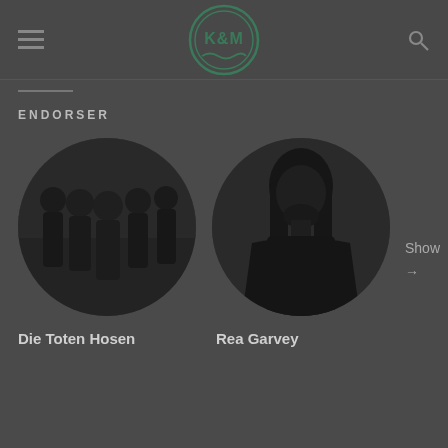K&M logo, navigation menu, search icon
ENDORSER
[Figure (photo): Circular photo of the band Die Toten Hosen - group of people standing together]
Die Toten Hosen
[Figure (photo): Circular photo of Rea Garvey - man with long hair wearing black t-shirt, looking down]
Rea Garvey
Show →